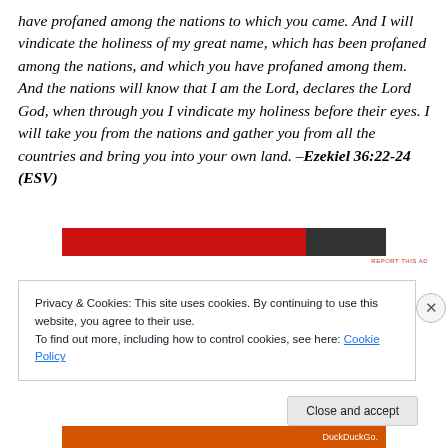have profaned among the nations to which you came. And I will vindicate the holiness of my great name, which has been profaned among the nations, and which you have profaned among them. And the nations will know that I am the Lord, declares the Lord God, when through you I vindicate my holiness before their eyes. I will take you from the nations and gather you from all the countries and bring you into your own land. –Ezekiel 36:22-24 (ESV)
[Figure (screenshot): Red advertisement banner with dark section on right side]
REPORT THIS AD
Privacy & Cookies: This site uses cookies. By continuing to use this website, you agree to their use.
To find out more, including how to control cookies, see here: Cookie Policy
Close and accept
[Figure (screenshot): Bottom orange advertisement bar with DuckDuckGo text]